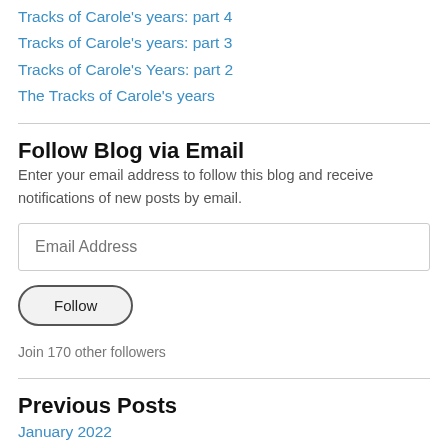Tracks of Carole's years: part 4
Tracks of Carole's years: part 3
Tracks of Carole's Years: part 2
The Tracks of Carole's years
Follow Blog via Email
Enter your email address to follow this blog and receive notifications of new posts by email.
Email Address
Follow
Join 170 other followers
Previous Posts
January 2022